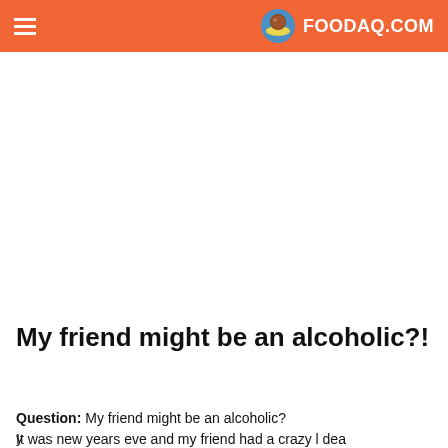FOODAQ.COM
My friend might be an alcoholic?!
Question: My friend might be an alcoholic?
It was new years eve and my friend had a crazy l dea to o into her parents liquor cabinet. She started to drink martini and beer... A lot of it too. Me andy friend stood there and stared thinking she's crazy. Btw she's